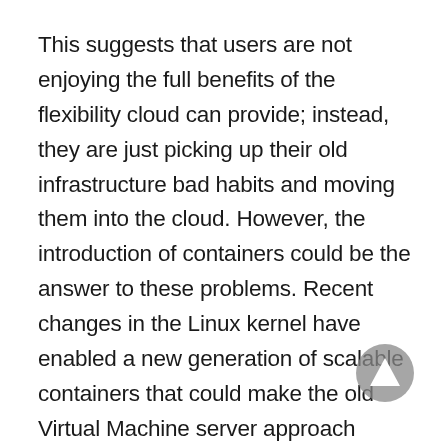This suggests that users are not enjoying the full benefits of the flexibility cloud can provide; instead, they are just picking up their old infrastructure bad habits and moving them into the cloud. However, the introduction of containers could be the answer to these problems. Recent changes in the Linux kernel have enabled a new generation of scalable containers that could make the old Virtual Machine server approach redundant. We have seen the likes of Docker making waves in the PaaS market with its container solution, and now such companies are starting to made waves in